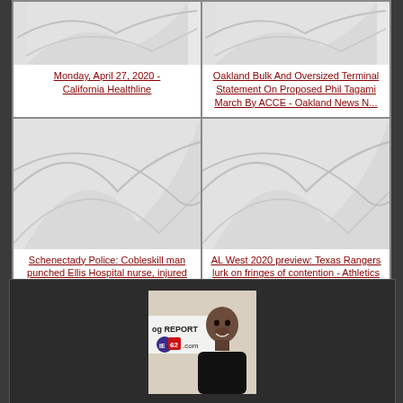[Figure (screenshot): Placeholder image top-left cell]
Monday, April 27, 2020 - California Healthline
[Figure (screenshot): Placeholder image top-right cell]
Oakland Bulk And Oversized Terminal Statement On Proposed Phil Tagami March By ACCE - Oakland News N...
[Figure (screenshot): Placeholder image bottom-left cell]
Schenectady Police: Cobleskill man punched Ellis Hospital nurse, injured nurse's shoulder - The Dail...
[Figure (screenshot): Placeholder image bottom-right cell]
AL West 2020 preview: Texas Rangers lurk on fringes of contention - Athletics Nation
[Figure (photo): Photo of a man smiling, with logo reading 'og REPORT IE62.com' visible in background]